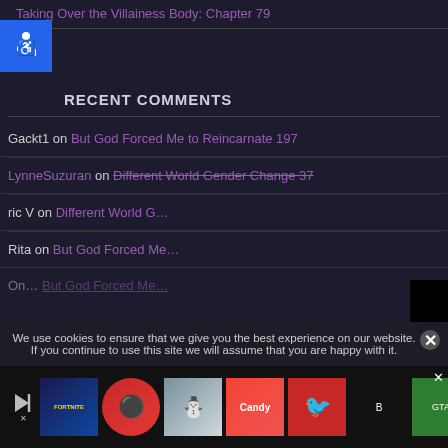Taking Over the Villainess Body: Chapter 79
[Figure (other): Blue accessibility icon button (wheelchair symbol) in top-left corner]
RECENT COMMENTS
Gackt1 on But God Forced Me to Reincarnate 197
LynneSuzuran on Different World Gender Change 37
ric V on Different World G...
Rita on But God Forced Me...
[Figure (other): Black video popup overlay with loading spinner and close X button]
[Figure (other): Second blue accessibility icon button (wheelchair symbol)]
We use cookies to ensure that we give you the best experience on our website. If you continue to use this site we will assume that you are happy with it.
[Figure (other): Advertisement bar showing game icons: Fortnite, Pokemon, Snow Bros, Candy Crush, Angry Birds, Bendy, GTA]